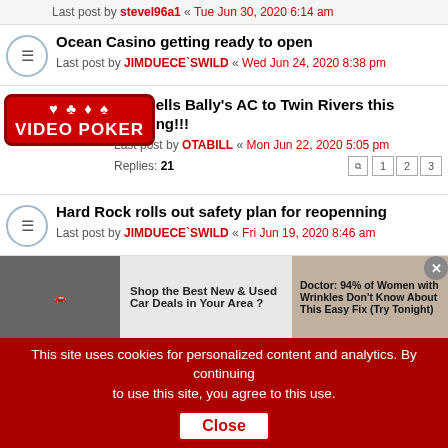Last post by stevel96a1 « Tue Jun 30, 2020 6:14 am
Ocean Casino getting ready to open
Last post by JIMDUECE`SWILD « Wed Jun 24, 2020 8:38 pm
[Figure (other): VIDEO POKER promotional overlay with card suit icons]
Icsa sells Bally's AC to Twin Rivers this morning!!!
Last post by OTABILL « Mon Jun 22, 2020 5:05 pm
Replies: 21
Hard Rock rolls out safety plan for reopenning
Last post by JIMDUECE`SWILD « Fri Jun 19, 2020 8:46 am
AC Opening
Last post by jetermacaw « Sat Jun 13, 2020 9:46 am
Borgata
Last post by jetermacaw « Sat Jun 06, 2020 10:32 am
Replies: 24
AC
[Figure (screenshot): Advertisement banner: car ad 'Shop the Best New & Used Car Deals in Your Area?' and skincare ad 'Doctor: 94% of Women with Wrinkles Don't Know About This Easy Fix (Try Tonight)']
This site uses cookies for personalized content and analytics. By continuing to use this site, you agree to this use. Close